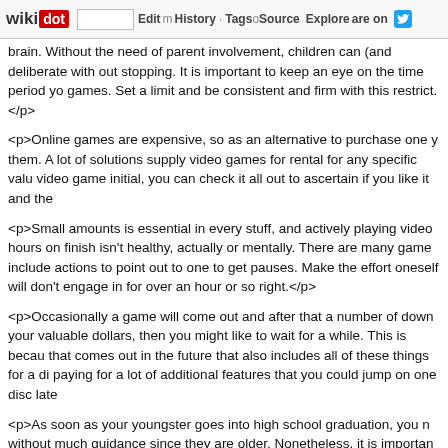wikidot | site | Edit | History | Tags | Source | Explore | Share on
brain. Without the need of parent involvement, children can (and deliberate with out stopping. It is important to keep an eye on the time period yo games. Set a limit and be consistent and firm with this restrict.</p>
<p>Online games are expensive, so as an alternative to purchase one y them. A lot of solutions supply video games for rental for any specific valu video game initial, you can check it all out to ascertain if you like it and the
<p>Small amounts is essential in every stuff, and actively playing video hours on finish isn't healthy, actually or mentally. There are many game include actions to point out to one to get pauses. Make the effort oneself will don't engage in for over an hour or so right.</p>
<p>Occasionally a game will come out and after that a number of down your valuable dollars, then you might like to wait for a while. This is becau that comes out in the future that also includes all of these things for a di paying for a lot of additional features that you could jump on one disc late
<p>As soon as your youngster goes into high school graduation, you n without much guidance since they are older. Nonetheless, it is importan video games really can pull youngsters in whilst keeping them actively p you have to enforce playing without excess.</p>
<p>Use online games to knit a firmer family. Even with Selecting Holiday gaming out these days, it is uncommon for grownups to perform online might be exciting for those. Games that concentrate on schooling and l anyone to wind flow down jointly at nighttime.</p>
<p>Usually do not purchase visit link when it initial comes out. I know it is but historical past has shown that half a year after launch, a lot of ga